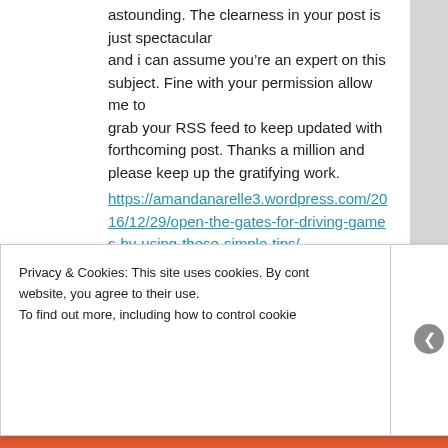astounding. The clearness in your post is just spectacular and i can assume you’re an expert on this subject. Fine with your permission allow me to grab your RSS feed to keep updated with forthcoming post. Thanks a million and please keep up the gratifying work.
https://amandanarelle3.wordpress.com/2016/12/29/open-the-gates-for-driving-games-by-using-these-simple-tips/
★ Like
👍 0  👎 0  ℹ Rate This
Privacy & Cookies: This site uses cookies. By cont website, you agree to their use. To find out more, including how to control cookie Close and accept